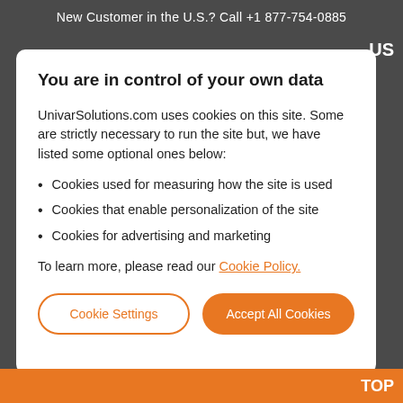New Customer in the U.S.? Call +1 877-754-0885
You are in control of your own data
UnivarSolutions.com uses cookies on this site. Some are strictly necessary to run the site but, we have listed some optional ones below:
Cookies used for measuring how the site is used
Cookies that enable personalization of the site
Cookies for advertising and marketing
To learn more, please read our Cookie Policy.
Cookie Settings
Accept All Cookies